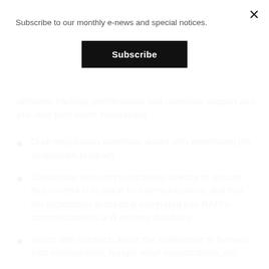Subscribe to our monthly e-news and special notices.
Subscribe
attendee tracking, presentation and materials support and pre- and post-event evaluations
Draft registration materials, assist with developing the conference program
Coordinate with communications director to ensure that content is in place for communications and that the registration process is integrated into RAFI's communications and existing database
Assist with outreach about the conference to farmers, faith communities, hunger relief organizations, etc.
Communicate event details and logistics to